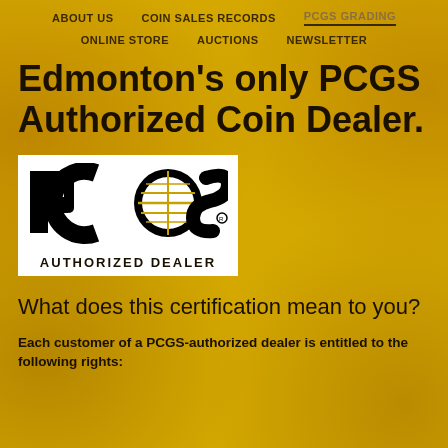ABOUT US   COIN SALES RECORDS   PCGS GRADING
ONLINE STORE   AUCTIONS   NEWSLETTER
Edmonton's only PCGS Authorized Coin Dealer.
[Figure (logo): PCGS Authorized Dealer logo: black and white PCGS logo with circle globe motif, text 'AUTHORIZED DEALER' below]
What does this certification mean to you?
Each customer of a PCGS-authorized dealer is entitled to the following rights: